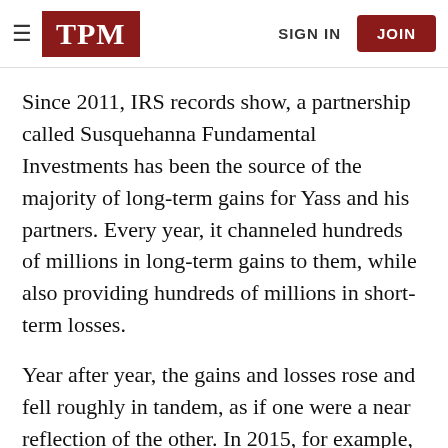TPM | SIGN IN | JOIN
Since 2011, IRS records show, a partnership called Susquehanna Fundamental Investments has been the source of the majority of long-term gains for Yass and his partners. Every year, it channeled hundreds of millions in long-term gains to them, while also providing hundreds of millions in short-term losses.
Year after year, the gains and losses rose and fell roughly in tandem, as if one were a near reflection of the other. In 2015, for example, Susquehanna Fundamental produced $774 million in long-term gains and $787 million in short-term losses for Yass.